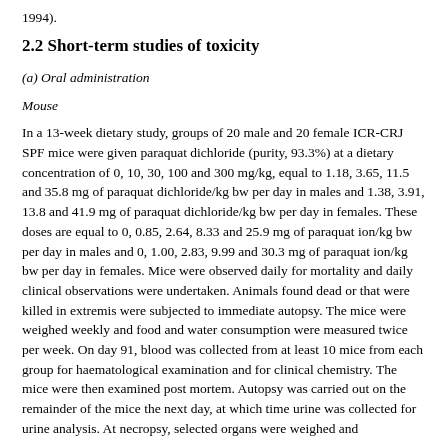1994).
2.2 Short-term studies of toxicity
(a) Oral administration
Mouse
In a 13-week dietary study, groups of 20 male and 20 female ICR-CRJ SPF mice were given paraquat dichloride (purity, 93.3%) at a dietary concentration of 0, 10, 30, 100 and 300 mg/kg, equal to 1.18, 3.65, 11.5 and 35.8 mg of paraquat dichloride/kg bw per day in males and 1.38, 3.91, 13.8 and 41.9 mg of paraquat dichloride/kg bw per day in females. These doses are equal to 0, 0.85, 2.64, 8.33 and 25.9 mg of paraquat ion/kg bw per day in males and 0, 1.00, 2.83, 9.99 and 30.3 mg of paraquat ion/kg bw per day in females. Mice were observed daily for mortality and daily clinical observations were undertaken. Animals found dead or that were killed in extremis were subjected to immediate autopsy. The mice were weighed weekly and food and water consumption were measured twice per week. On day 91, blood was collected from at least 10 mice from each group for haematological examination and for clinical chemistry. The mice were then examined post mortem. Autopsy was carried out on the remainder of the mice the next day, at which time urine was collected for urine analysis. At necropsy, selected organs were weighed and